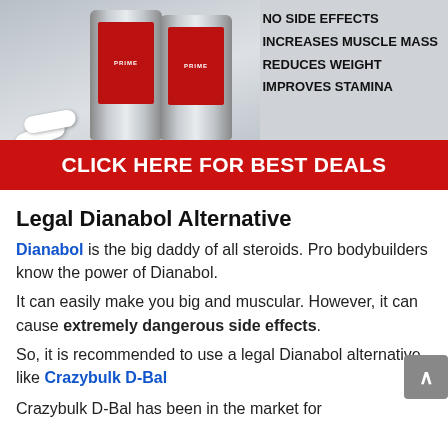[Figure (photo): Product advertisement banner showing two supplement cans labeled PRIME with a red label, white capsule pills, bullet points listing: NO SIDE EFFECTS, INCREASES MUSCLE MASS, REDUCES WEIGHT, IMPROVES STAMINA, and a red call-to-action button saying CLICK HERE FOR BEST DEALS]
Legal Dianabol Alternative
Dianabol is the big daddy of all steroids. Pro bodybuilders know the power of Dianabol.
It can easily make you big and muscular. However, it can cause extremely dangerous side effects.
So, it is recommended to use a legal Dianabol alternative like Crazybulk D-Bal
Crazybulk D-Bal has been in the market for